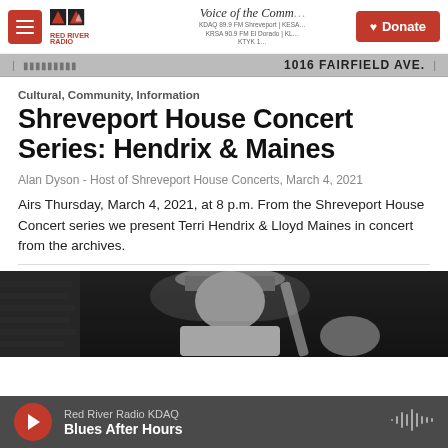Red River Radio — Voice of the Community — Donate
[Figure (screenshot): Ad strip with partial address text]
Cultural, Community, Information
Shreveport House Concert Series: Hendrix & Maines
Alan Dyson - Host of Shreveport House Concerts, March 4, 2021
Airs Thursday, March 4, 2021, at 8 p.m. From the Shreveport House Concert series we present Terri Hendrix & Lloyd Maines in concert from the archives.
[Figure (photo): Black and white photo of a musician wearing a hat and playing guitar, viewed from above/side angle against a brick wall background]
Red River Radio KDAQ — Blues After Hours